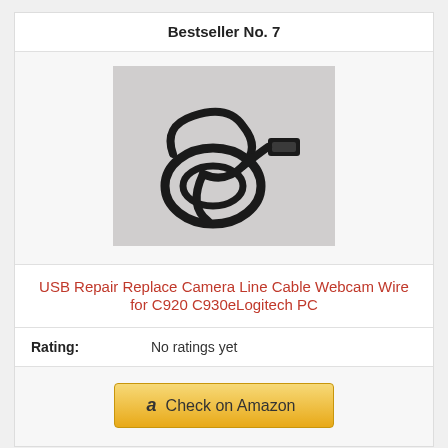Bestseller No. 7
[Figure (photo): Black USB cable coiled on a white/gray background]
USB Repair Replace Camera Line Cable Webcam Wire for C920 C930eLogitech PC
Rating: No ratings yet
Check on Amazon
Bestseller No. 8